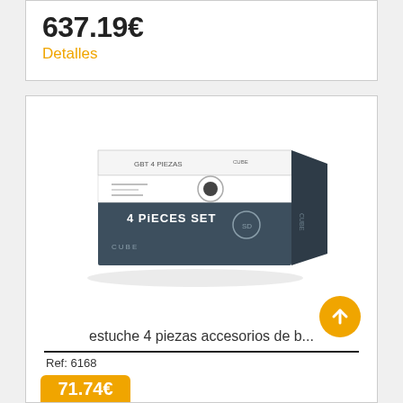637.19€
Detalles
[Figure (photo): Product box image: a rectangular box labeled '4 PIECES SET' with dark blue-grey packaging, on a white background with reflection]
estuche 4 piezas accesorios de b...
Ref: 6168
71.74€